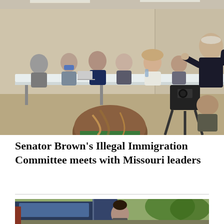[Figure (photo): Indoor meeting room scene. Several people seated at a long white table including a woman in a blue mask, a man in a dark suit, a woman in white/light top, and others. A person in a dark suit stands at the far right gesturing with hands raised, appearing to speak or present. In the foreground, the back of a woman with brown hair is visible. A cameraman and camera rig are visible on the right side.]
Senator Brown’s Illegal Immigration Committee meets with Missouri leaders
[Figure (photo): Outdoor scene showing the side of a vehicle with an open door. A person is partially visible near the vehicle door. The background shows trees and an outdoor environment.]